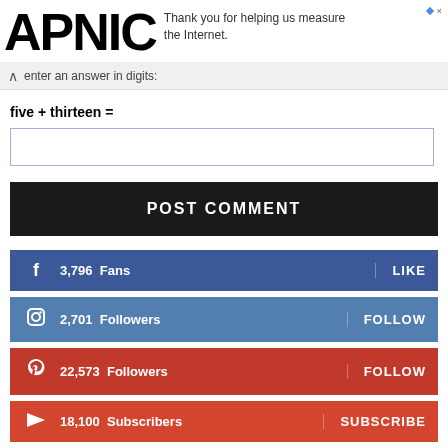APNIC — Thank you for helping us measure the Internet.
enter an answer in digits:
POST COMMENT
3,796 Fans LIKE
2,701 Followers FOLLOW
22,573 Followers FOLLOW
18,100 Subscribers SUBSCRIBE